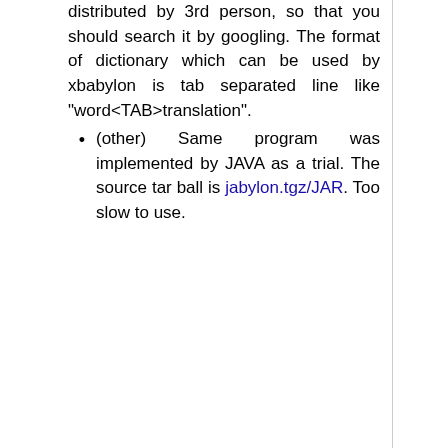distributed by 3rd person, so that you should search it by googling. The format of dictionary which can be used by xbabylon is tab separated line like "word<TAB>translation".
(other) Same program was implemented by JAVA as a trial. The source tar ball is jabylon.tgz/JAR. Too slow to use.